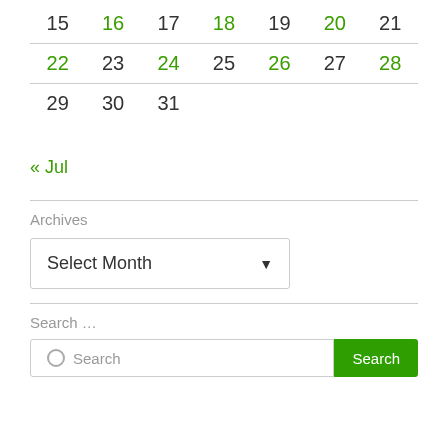| 15 | 16 | 17 | 18 | 19 | 20 | 21 |
| 22 | 23 | 24 | 25 | 26 | 27 | 28 |
| 29 | 30 | 31 |  |  |  |  |
« Jul
Archives
Select Month
Search ...
Search